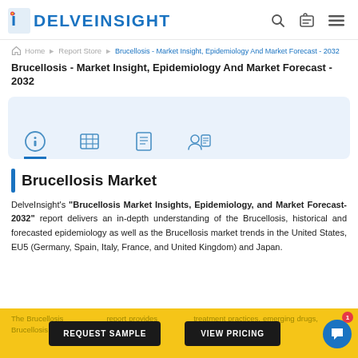DelveInsight logo and navigation icons
Home > Report Store > Brucellosis - Market Insight, Epidemiology And Market Forecast - 2032
Brucellosis - Market Insight, Epidemiology And Market Forecast - 2032
[Figure (infographic): Tab strip with four icons: info, table/grid, list/report, and person-with-document, on a light blue background. The first tab (info) is active with a blue underline.]
Brucellosis Market
DelveInsight's "Brucellosis Market Insights, Epidemiology, and Market Forecast-2032" report delivers an in-depth understanding of the Brucellosis, historical and forecasted epidemiology as well as the Brucellosis market trends in the United States, EU5 (Germany, Spain, Italy, France, and United Kingdom) and Japan.
The Brucellosis report provides treatment practices, emerging drugs, Brucellosis market share of the